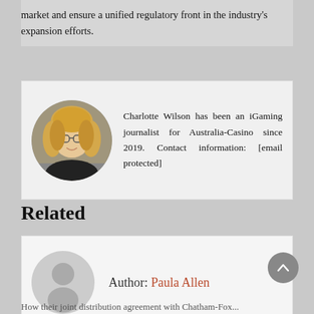market and ensure a unified regulatory front in the industry's expansion efforts.
[Figure (photo): Circular portrait photo of Charlotte Wilson, a woman with blonde hair and glasses, smiling.]
Charlotte Wilson has been an iGaming journalist for Australia-Casino since 2019. Contact information: [email protected]
Related
[Figure (illustration): Default grey avatar/silhouette icon for author Paula Allen]
Author: Paula Allen
How their joint distribution agreement with Chatham-Fox...